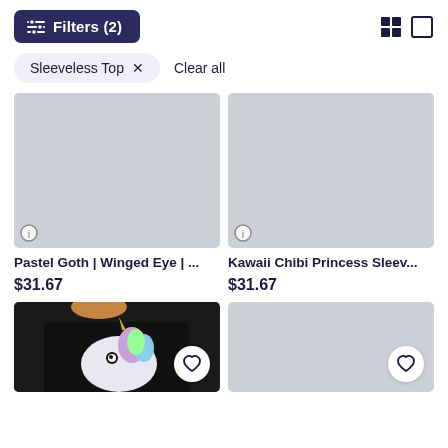Filters (2)
Sleeveless Top  ×
Clear all
[Figure (photo): Gray placeholder product image with info icon badge, first product]
Pastel Goth | Winged Eye | ...
$31.67
[Figure (photo): Gray placeholder product image with info icon badge, second product]
Kawaii Chibi Princess Sleev...
$31.67
[Figure (photo): Photo of a person wearing a black sleeveless top with unicorn design, with heart favorite button]
[Figure (photo): Gray placeholder bottom product image with heart favorite button]